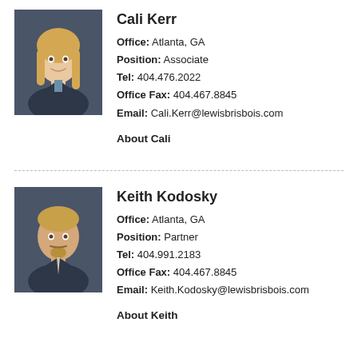[Figure (photo): Professional headshot of Cali Kerr, a woman with long blonde hair, wearing a dark blazer, smiling against a dark background.]
Cali Kerr
Office: Atlanta, GA
Position: Associate
Tel: 404.476.2022
Office Fax: 404.467.8845
Email: Cali.Kerr@lewisbrisbois.com
About Cali
[Figure (photo): Professional headshot of Keith Kodosky, a man with short blonde hair and a goatee, wearing a dark suit with a light tie, against a dark background.]
Keith Kodosky
Office: Atlanta, GA
Position: Partner
Tel: 404.991.2183
Office Fax: 404.467.8845
Email: Keith.Kodosky@lewisbrisbois.com
About Keith